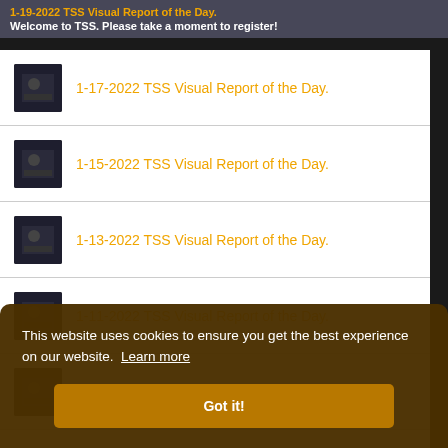1-19-2022 TSS Visual Report of the Day.
Welcome to TSS. Please take a moment to register!
1-17-2022 TSS Visual Report of the Day.
1-15-2022 TSS Visual Report of the Day.
1-13-2022 TSS Visual Report of the Day.
1-11-2022 TSS Visual Report of the Day.
1-10-2022 TSS Visual Report of the Day.
1-5-2022 TSS Visual Report of the Day.
This website uses cookies to ensure you get the best experience on our website. Learn more
Got it!